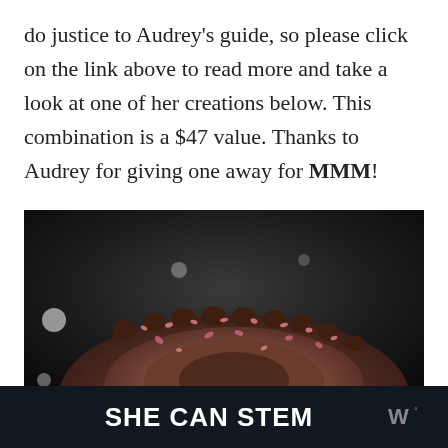do justice to Audrey's guide, so please click on the link above to read more and take a look at one of her creations below. This combination is a $47 value. Thanks to Audrey for giving one away for MMM!
[Figure (photo): Close-up photograph of a decorated chocolate cake with pink flower petals and chocolate rosettes along the rim, dark bokeh background]
SHE CAN STEM